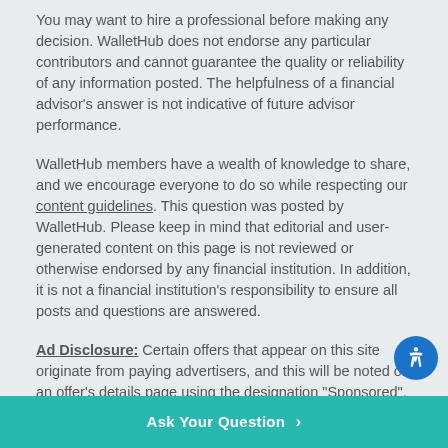You may want to hire a professional before making any decision. WalletHub does not endorse any particular contributors and cannot guarantee the quality or reliability of any information posted. The helpfulness of a financial advisor's answer is not indicative of future advisor performance.
WalletHub members have a wealth of knowledge to share, and we encourage everyone to do so while respecting our content guidelines. This question was posted by WalletHub. Please keep in mind that editorial and user-generated content on this page is not reviewed or otherwise endorsed by any financial institution. In addition, it is not a financial institution's responsibility to ensure all posts and questions are answered.
Ad Disclosure: Certain offers that appear on this site originate from paying advertisers, and this will be noted on an offer's details page using the designation "Sponsored", where applicable. Advertising may impact how and where products appear on this site (including, for example, the order in which they appear). At WalletHub we try to present a wide array of offers, but our offers do not represent all financial services companies or products.
Ask Your Question >